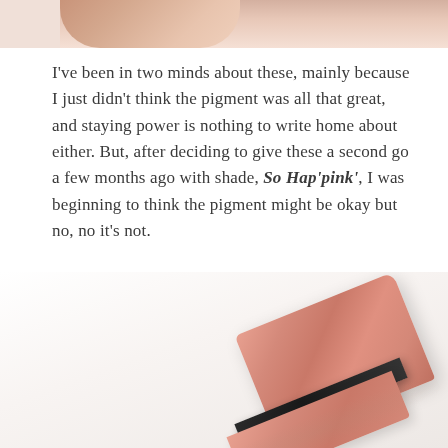[Figure (photo): Cropped photo of fingers/hand holding a lipstick, visible at the very top of the page]
I've been in two minds about these, mainly because I just didn't think the pigment was all that great, and staying power is nothing to write home about either. But, after deciding to give these a second go a few months ago with shade, So Hap'pink', I was beginning to think the pigment might be okay but no, no it's not.
[Figure (photo): Photo of a pink lipstick tube (lid off, angled) on a white/light grey surface, occupying the lower portion of the page]